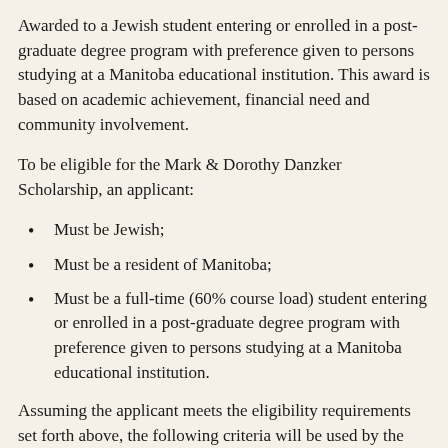Awarded to a Jewish student entering or enrolled in a post-graduate degree program with preference given to persons studying at a Manitoba educational institution. This award is based on academic achievement, financial need and community involvement.
To be eligible for the Mark & Dorothy Danzker Scholarship, an applicant:
Must be Jewish;
Must be a resident of Manitoba;
Must be a full-time (60% course load) student entering or enrolled in a post-graduate degree program with preference given to persons studying at a Manitoba educational institution.
Assuming the applicant meets the eligibility requirements set forth above, the following criteria will be used by the